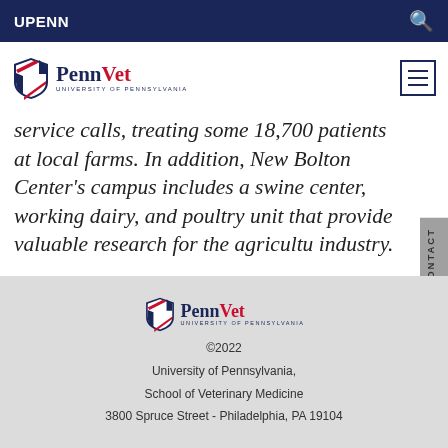UPENN
[Figure (logo): Penn Vet - University of Pennsylvania logo in header]
service calls, treating some 18,700 patients at local farms. In addition, New Bolton Center's campus includes a swine center, working dairy, and poultry unit that provide valuable research for the agricultural industry.
[Figure (logo): Penn Vet - University of Pennsylvania logo in footer]
©2022
University of Pennsylvania,
School of Veterinary Medicine
3800 Spruce Street - Philadelphia, PA 19104